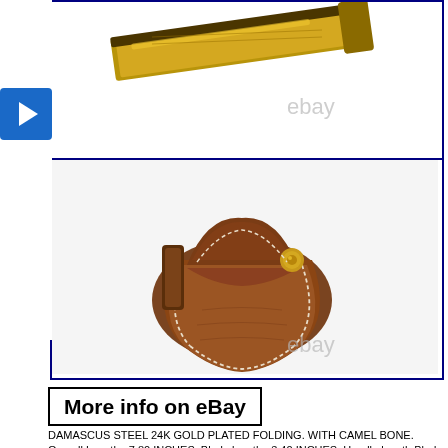[Figure (photo): Partial view of a knife with brass/gold bolster and handle, shown in a blue-bordered box with eBay watermark. A play button icon is visible on the left.]
[Figure (photo): Brown leather folding knife sheath/pouch with white stitching and a brass snap button, shown in a blue-bordered box with eBay watermark.]
More info on eBay
DAMASCUS STEEL 24K GOLD PLATED FOLDING. WITH CAMEL BONE. Overall Length : 7.80 INCHES. Blade length : 3.40 INCHES. Handle length Blade Width : 0.8 INCHES. Damascus Design : Ladder Pattern. Knife with offer you one of kind FANTASTIC workmanship. This knife comes with Sup with 100% cow leather sheath for its safety and easier carriage so can be